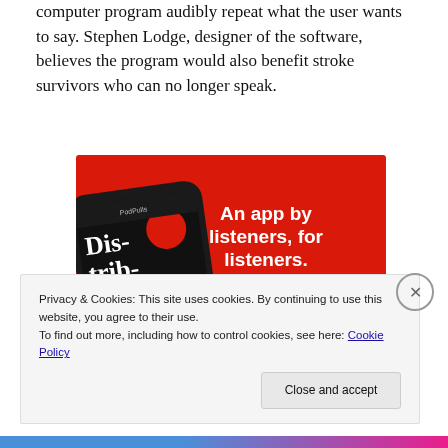computer program audibly repeat what the user wants to say. Stephen Lodge, designer of the software, believes the program would also benefit stroke survivors who can no longer speak.
[Figure (screenshot): Advertisement banner for a podcast app on red background, showing a smartphone with 'Dis-tri-bu-ted' podcast, text 'An app by listeners, for listeners.' and a 'Download now' button.]
Privacy & Cookies: This site uses cookies. By continuing to use this website, you agree to their use.
To find out more, including how to control cookies, see here: Cookie Policy
Close and accept